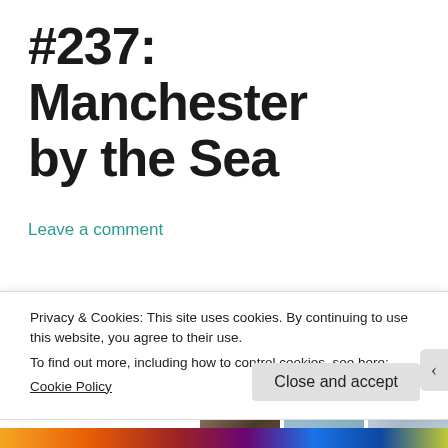#237: Manchester by the Sea
Leave a comment
#237 – Manchester
[Figure (photo): Three cropped photos showing tops of people's heads: a dark-haired person, a blurred light background, and a blonde-haired person]
Privacy & Cookies: This site uses cookies. By continuing to use this website, you agree to their use.
To find out more, including how to control cookies, see here:
Cookie Policy
Close and accept